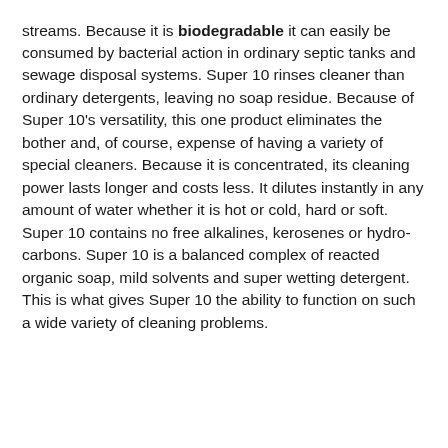streams. Because it is biodegradable it can easily be consumed by bacterial action in ordinary septic tanks and sewage disposal systems. Super 10 rinses cleaner than ordinary detergents, leaving no soap residue. Because of Super 10's versatility, this one product eliminates the bother and, of course, expense of having a variety of special cleaners. Because it is concentrated, its cleaning power lasts longer and costs less. It dilutes instantly in any amount of water whether it is hot or cold, hard or soft. Super 10 contains no free alkalines, kerosenes or hydrocarbons. Super 10 is a balanced complex of reacted organic soap, mild solvents and super wetting detergent. This is what gives Super 10 the ability to function on such a wide variety of cleaning problems.